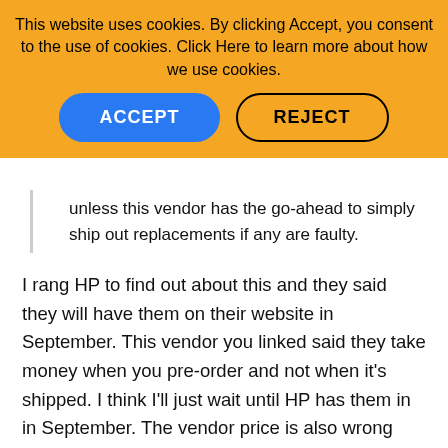This website uses cookies. By clicking Accept, you consent to the use of cookies. Click Here to learn more about how we use cookies.
ACCEPT
REJECT
unless this vendor has the go-ahead to simply ship out replacements if any are faulty.
I rang HP to find out about this and they said they will have them on their website in September. This vendor you linked said they take money when you pre-order and not when it's shipped. I think I'll just wait until HP has them in in September. The vendor price is also wrong and they are going to change it from the £649 it's currently at. There was some